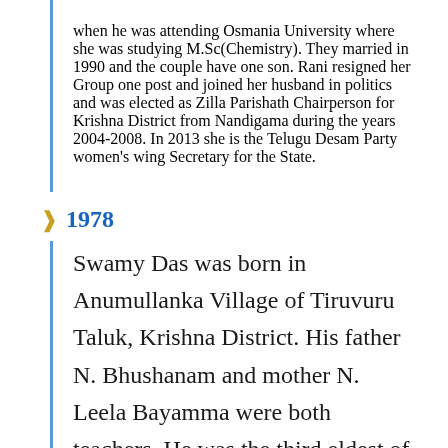when he was attending Osmania University where she was studying M.Sc(Chemistry). They married in 1990 and the couple have one son. Rani resigned her Group one post and joined her husband in politics and was elected as Zilla Parishath Chairperson for Krishna District from Nandigama during the years 2004-2008. In 2013 she is the Telugu Desam Party women's wing Secretary for the State.
1978
Swamy Das was born in Anumullanka Village of Tiruvuru Taluk, Krishna District. His father N. Bhushanam and mother N. Leela Bayamma were both teachers. He was the third eldest of four sons to his parents, and also had one sister.